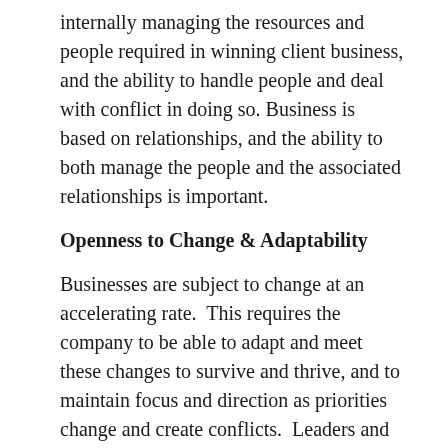internally managing the resources and people required in winning client business, and the ability to handle people and deal with conflict in doing so. Business is based on relationships, and the ability to both manage the people and the associated relationships is important.
Openness to Change & Adaptability
Businesses are subject to change at an accelerating rate.  This requires the company to be able to adapt and meet these changes to survive and thrive, and to maintain focus and direction as priorities change and create conflicts.  Leaders and managers need to anticipate and to facilitate this. Similarly, the company also has to manage the effect of